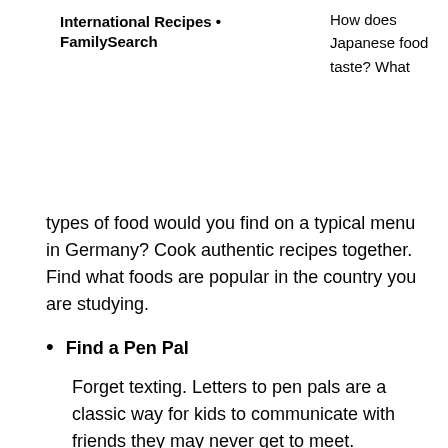International Recipes • FamilySearch
How does Japanese food taste? What types of food would you find on a typical menu in Germany? Cook authentic recipes together. Find what foods are popular in the country you are studying.
Find a Pen Pal
Forget texting. Letters to pen pals are a classic way for kids to communicate with friends they may never get to meet.